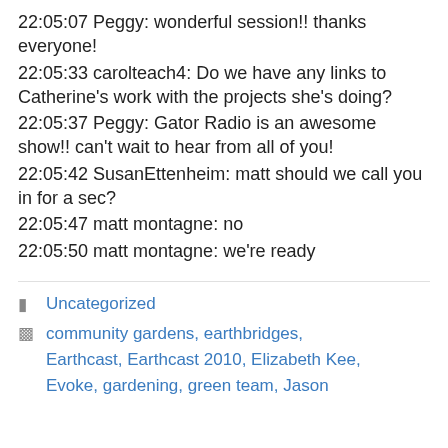22:05:07 Peggy: wonderful session!! thanks everyone!
22:05:33 carolteach4: Do we have any links to Catherine’s work with the projects she’s doing?
22:05:37 Peggy: Gator Radio is an awesome show!! can’t wait to hear from all of you!
22:05:42 SusanEttenheim: matt should we call you in for a sec?
22:05:47 matt montagne: no
22:05:50 matt montagne: we’re ready
Uncategorized
community gardens, earthbridges, Earthcast, Earthcast 2010, Elizabeth Kee, Evoke, gardening, green team, Jason